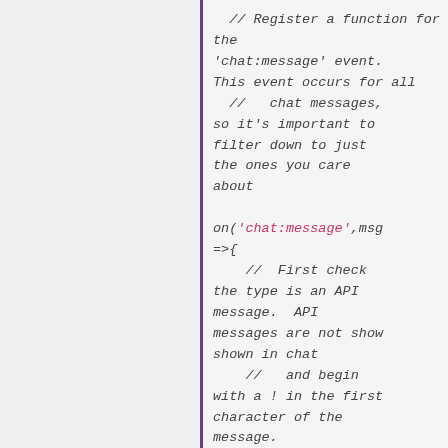// Register a function for the 'chat:message' event. This event occurs for all
//   chat messages, so it's important to filter down to just the ones you care about

on('chat:message',msg =>{    //  First check the type is an API message.  API messages are not show shown in chat
    //   and begin with a ! in the first character of the message.
    //